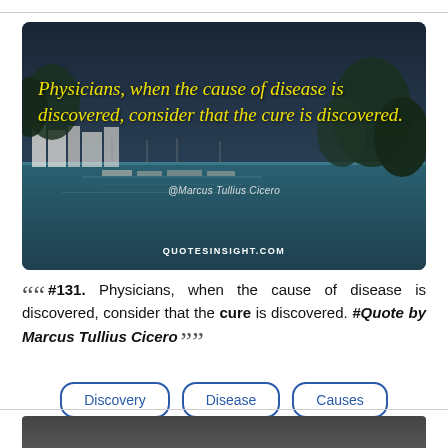[Figure (photo): Harbour/coastal town photo with overlay quote in yellow italic text: 'Physicians, when the cause of disease is discovered, consider that the cure is discovered.' Attributed to Marcus Tullius Cicero. Website: QUOTESINSIGHT.COM]
““ #131. Physicians, when the cause of disease is discovered, consider that the cure is discovered. #Quote by Marcus Tullius Cicero ””
Discovery
Disease
Causes